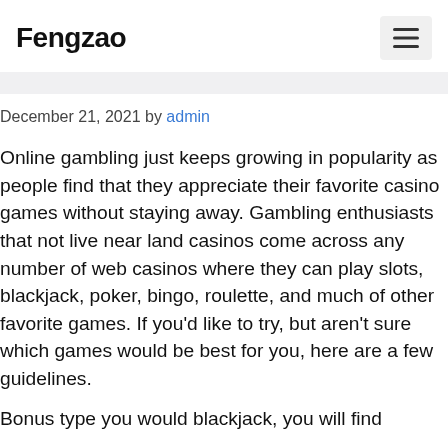Fengzao
December 21, 2021 by admin
Online gambling just keeps growing in popularity as people find that they appreciate their favorite casino games without staying away. Gambling enthusiasts that not live near land casinos come across any number of web casinos where they can play slots, blackjack, poker, bingo, roulette, and much of other favorite games. If you'd like to try, but aren't sure which games would be best for you, here are a few guidelines.
Bonus type you would blackjack, you will find...